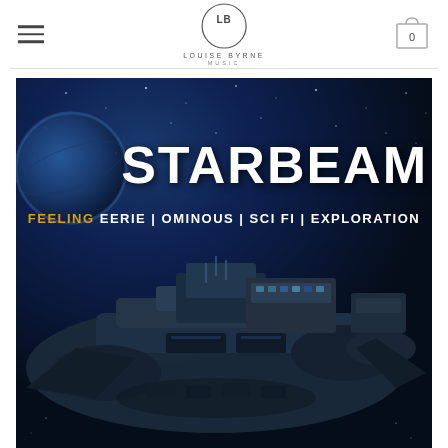[Figure (screenshot): Website header for Louise Byrne Music with hamburger menu on left, circular LB logo in center with text LOUISE BYRNE MUSIC, and shopping cart icon with 0 on right]
[Figure (photo): Album/music cover art for STARBEAM by Louise Byrne Music. Dark blue space background with stars and a planet visible. A large detailed sci-fi spaceship dominates the lower half. Text overlay reads STARBEAM in large white bold letters. Below it: FEELING EERIE | OMINOUS | SCI FI | EXPLORATION with FEELING in yellow/gold.]